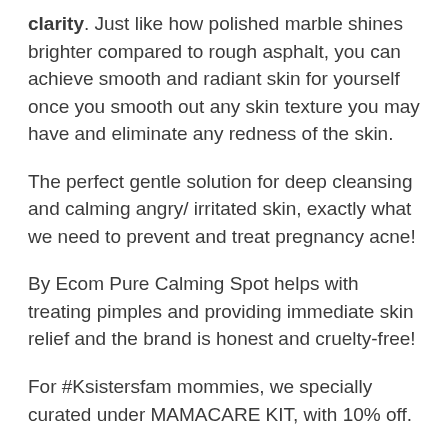clarity. Just like how polished marble shines brighter compared to rough asphalt, you can achieve smooth and radiant skin for yourself once you smooth out any skin texture you may have and eliminate any redness of the skin.
The perfect gentle solution for deep cleansing and calming angry/ irritated skin, exactly what we need to prevent and treat pregnancy acne!
By Ecom Pure Calming Spot helps with treating pimples and providing immediate skin relief and the brand is honest and cruelty-free!
For #Ksistersfam mommies, we specially curated under MAMACARE KIT, with 10% off.
About OHIOHOO Fig Wash Off Mask